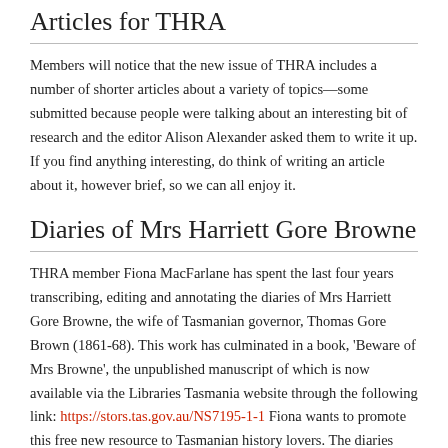Articles for THRA
Members will notice that the new issue of THRA includes a number of shorter articles about a variety of topics—some submitted because people were talking about an interesting bit of research and the editor Alison Alexander asked them to write it up. If you find anything interesting, do think of writing an article about it, however brief, so we can all enjoy it.
Diaries of Mrs Harriett Gore Browne
THRA member Fiona MacFarlane has spent the last four years transcribing, editing and annotating the diaries of Mrs Harriett Gore Browne, the wife of Tasmanian governor, Thomas Gore Brown (1861-68). This work has culminated in a book, 'Beware of Mrs Browne', the unpublished manuscript of which is now available via the Libraries Tasmania website through the following link: https://stors.tas.gov.au/NS7195-1-1 Fiona wants to promote this free new resource to Tasmanian history lovers. The diaries